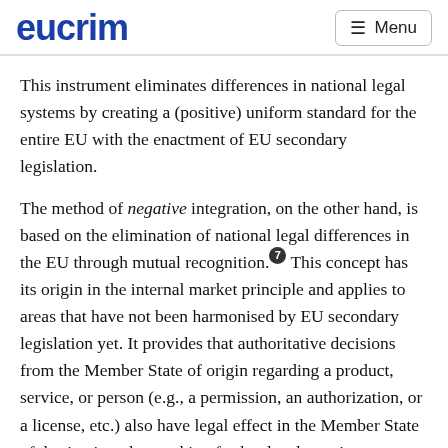eucrim  ≡ Menu
This instrument eliminates differences in national legal systems by creating a (positive) uniform standard for the entire EU with the enactment of EU secondary legislation.
The method of negative integration, on the other hand, is based on the elimination of national legal differences in the EU through mutual recognition.7 This concept has its origin in the internal market principle and applies to areas that have not been harmonised by EU secondary legislation yet. It provides that authoritative decisions from the Member State of origin regarding a product, service, or person (e.g., a permission, an authorization, or a license, etc.) also have legal effect in the Member State of destination, thus making further legal scrutiny dispensable. Therefore, a specific good, service, or professional activity that is approved in one Member State must also be approved in other Member States.8 As a result, this mechanism
lets us learn of former presentation of how it looks from a...